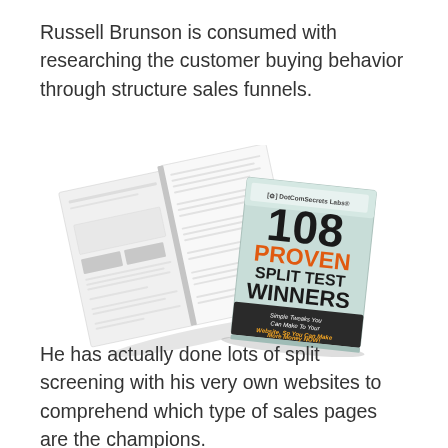Russell Brunson is consumed with researching the customer buying behavior through structure sales funnels.
[Figure (photo): Two books shown: an open book/report spread on the left, and on the right a book titled '108 Proven Split Test Winners' with subtitle 'Simple Tweaks You Can Make To Your Website, So You Can Make More Money NOW!' by DotComSecrets Labs.]
He has actually done lots of split screening with his very own websites to comprehend which type of sales pages are the champions.